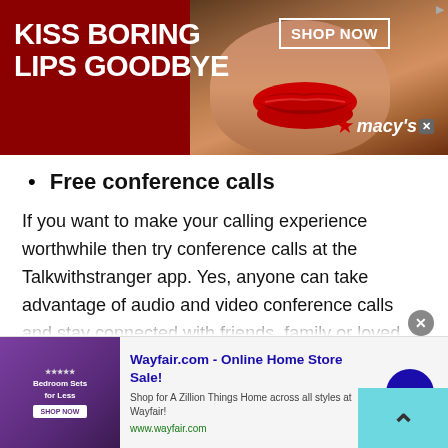[Figure (infographic): Macy's advertisement banner with red background, text 'KISS BORING LIPS GOODBYE', a woman's face with red lips in the center, and 'SHOP NOW' box and Macy's star logo on the right.]
Free conference calls
If you want to make your calling experience worthwhile then try conference calls at the Talkwithstranger app. Yes, anyone can take advantage of audio and video conference calls and stay connected with friends, family or loved ones. When it comes to its accessibility, you can make conference calls on any device. No matter which device you are using, you can easily access conference calls, connect to your friends and make
[Figure (infographic): Wayfair.com advertisement: 'Wayfair.com - Online Home Store Sale!' with bedroom furniture image on left, description text, green URL, and blue arrow button on right.]